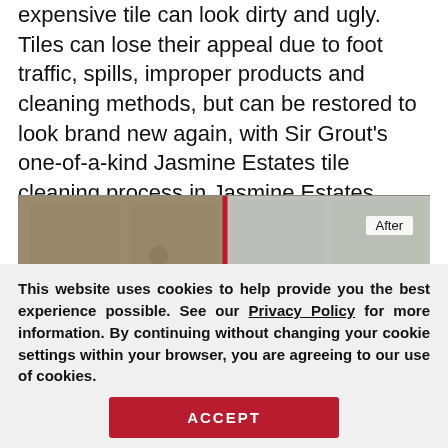expensive tile can look dirty and ugly. Tiles can lose their appeal due to foot traffic, spills, improper products and cleaning methods, but can be restored to look brand new again, with Sir Grout's one-of-a-kind Jasmine Estates tile cleaning process in Jasmine Estates, Florida.
[Figure (photo): Before and after photo of tile cleaning, split vertically by a red line. Left side shows dirty/stained tile, right side shows cleaned tile. An 'After' label appears in the top right. A 'Request a Free' button with a close X appears in the bottom right.]
This website uses cookies to help provide you the best experience possible. See our Privacy Policy for more information. By continuing without changing your cookie settings within your browser, you are agreeing to our use of cookies.
ACCEPT